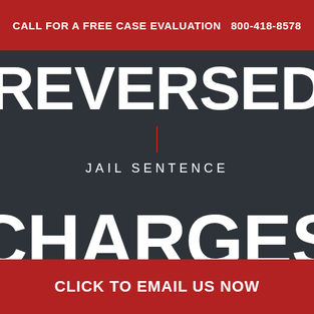CALL FOR A FREE CASE EVALUATION    800-418-8578
REVERSED
|
JAIL SENTENCE
CHARGES
CLICK TO EMAIL US NOW